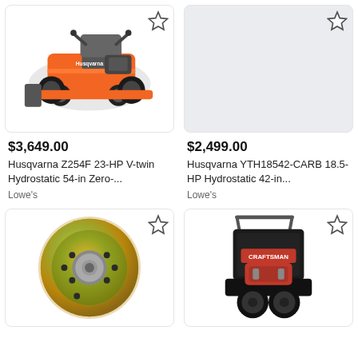[Figure (photo): Husqvarna Z254F zero-turn riding lawn mower, orange and gray color, on white background]
[Figure (photo): Empty light gray placeholder image box with star bookmark icon in top right corner]
$3,649.00
Husqvarna Z254F 23-HP V-twin Hydrostatic 54-in Zero-...
Lowe's
$2,499.00
Husqvarna YTH18542-CARB 18.5-HP Hydrostatic 42-in...
Lowe's
[Figure (photo): Gold/yellow metallic idler pulley wheel for lawn mower deck]
[Figure (photo): Craftsman push lawn mower, black with red engine, partially visible]